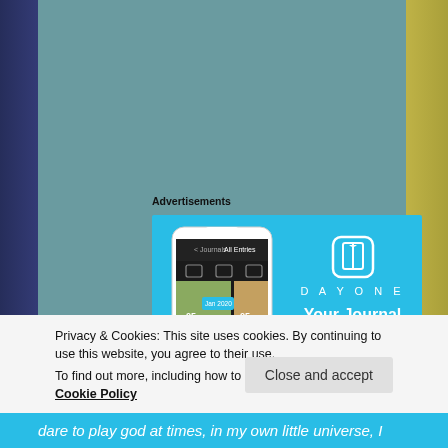Advertisements
[Figure (screenshot): DayOne journal app advertisement showing a smartphone with the DayOne app interface on the left and the DayOne logo with tagline 'Your Journal for life' on a light blue background on the right.]
Privacy & Cookies: This site uses cookies. By continuing to use this website, you agree to their use.
To find out more, including how to control cookies, see here: Cookie Policy
Close and accept
dare to play god at times, in my own little universe, I